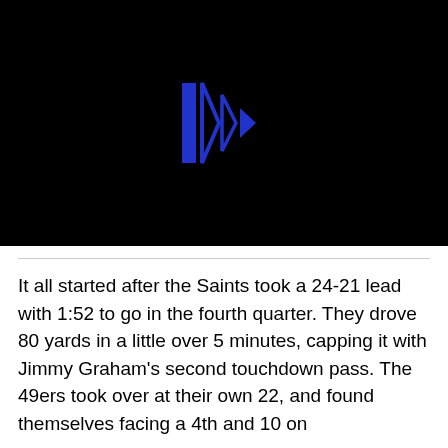[Figure (screenshot): Black video player thumbnail with a blue stylized fast-forward/play icon in the center]
It all started after the Saints took a 24-21 lead with 1:52 to go in the fourth quarter. They drove 80 yards in a little over 5 minutes, capping it with Jimmy Graham's second touchdown pass. The 49ers took over at their own 22, and found themselves facing a 4th and 10 on